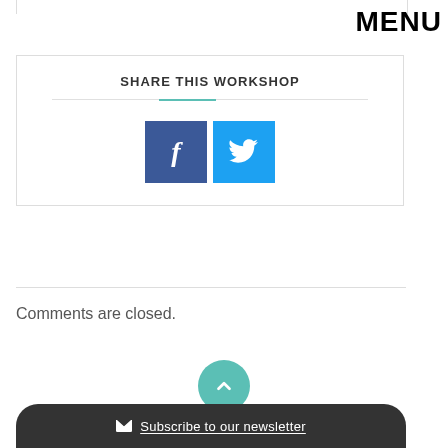MENU
SHARE THIS WORKSHOP
[Figure (infographic): Facebook and Twitter share buttons side by side]
Comments are closed.
[Figure (other): Scroll to top button - green circle with upward chevron]
Subscribe to our newsletter